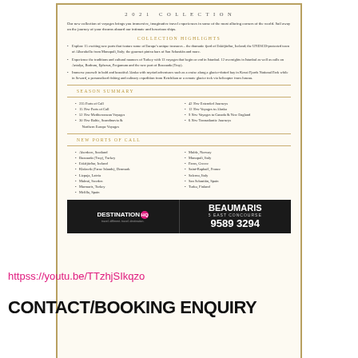2021 COLLECTION
Our new collection of voyages brings you immersive, imaginative travel experiences in some of the most alluring corners of the world. Sail away on the journey of your dreams aboard our intimate and luxurious ships.
COLLECTION HIGHLIGHTS
Explore 15 exciting new ports that feature some of Europe's unique treasures – the dramatic fjord of Eskifjörður, Iceland; the UNESCO-protected town of Alberobello from Monopoli, Italy; the gourmet pintxo bars of San Sebastian and more.
Experience the traditions and cultural nuances of Turkey with 13 voyages that begin or end in Istanbul. 12 overnights in Istanbul as well as calls on Antalya, Bodrum, Ephesus, Pergamum and the new port of Bozcaada (Troy).
Immerse yourself in bold and beautiful Alaska with myriad adventures such as a cruise along a glacier-dotted bay in Kenai Fjords National Park while in Seward, a personalized fishing and culinary expedition from Ketchikan or a remote glacier trek via helicopter from Juneau.
SEASON SUMMARY
235 Ports of Call
15 New Ports of Call
52 New Mediterranean Voyages
30 New Baltic, Scandinavia & Northern Europe Voyages
42 New Extended Journeys
12 New Voyages to Alaska
9 New Voyages to Canada & New England
6 New Transatlantic Journeys
NEW PORTS OF CALL
Aberdeen, Scotland
Bozcaada (Troy), Turkey
Eskifjörður, Iceland
Klaksvik (Faroe Islands), Denmark
Liepaja, Latvia
Malmö, Sweden
Marmaris, Turkey
Melilla, Spain
Molde, Norway
Monopoli, Italy
Paros, Greece
Saint-Raphaël, France
Salerno, Italy
San Sebastian, Spain
Turku, Finland
[Figure (logo): Destination HQ travel agency logo with pink HQ badge and tagline]
[Figure (infographic): Beaumaris 5 East Concourse phone number 9589 3294 advertisement]
httpss://youtu.be/TTzhjSIkqzo
CONTACT/BOOKING ENQUIRY